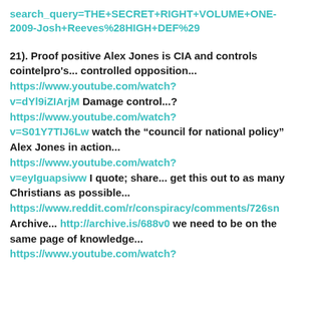search_query=THE+SECRET+RIGHT+VOLUME+ONE-2009-Josh+Reeves%28HIGH+DEF%29
21). Proof positive Alex Jones is CIA and controls cointelpro's... controlled opposition... https://www.youtube.com/watch?v=dYl9iZIArjM Damage control...? https://www.youtube.com/watch?v=S01Y7TIJ6Lw watch the "council for national policy" Alex Jones in action... https://www.youtube.com/watch?v=eyIguapsiww I quote; share... get this out to as many Christians as possible... https://www.reddit.com/r/conspiracy/comments/726sn Archive... http://archive.is/688v0 we need to be on the same page of knowledge... https://www.youtube.com/watch?